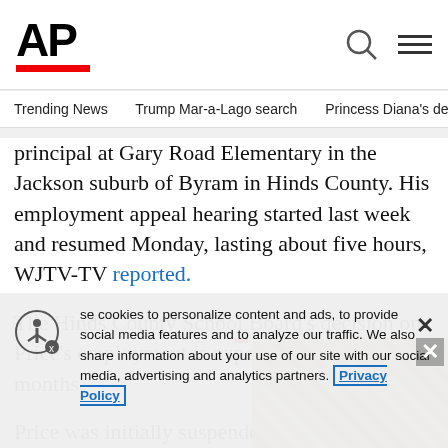AP
Trending News   Trump Mar-a-Lago search   Princess Diana's dea
principal at Gary Road Elementary in the Jackson suburb of Byram in Hinds County. His employment appeal hearing started last week and resumed Monday, lasting about five hours, WJTV-TV reported.
The Hinds County School Board's decision on Price's employment is expected in about two months.
Price was initially suspended with p...
[Figure (photo): Partially visible news photograph overlaid on article]
se cookies to personalize content and ads, to provide social media features and to analyze our traffic. We also share information about your use of our site with our social media, advertising and analytics partners. Privacy Policy